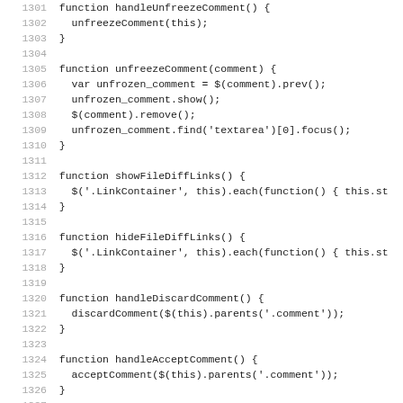[Figure (screenshot): Source code listing showing JavaScript functions: handleUnfreezeComment, unfreezeComment, showFileDiffLinks, hideFileDiffLinks, handleDiscardComment, handleAcceptComment, acceptComment. Lines 1301-1332 visible.]